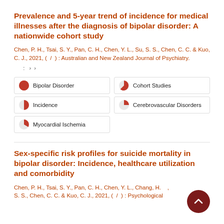Prevalence and 5-year trend of incidence for medical illnesses after the diagnosis of bipolar disorder: A nationwide cohort study
Chen, P. H., Tsai, S. Y., Pan, C. H., Chen, Y. L., Su, S. S., Chen, C. C. & Kuo, C. J., 2021, (  /  ) : Australian and New Zealand Journal of Psychiatry.
: › ›
Bipolar Disorder
Cohort Studies
Incidence
Cerebrovascular Disorders
Myocardial Ischemia
Sex-specific risk profiles for suicide mortality in bipolar disorder: Incidence, healthcare utilization and comorbidity
Chen, P. H., Tsai, S. Y., Pan, C. H., Chen, Y. L., Chang, H., S. S., Chen, C. C. & Kuo, C. J., 2021, (  /  ) : Psychological